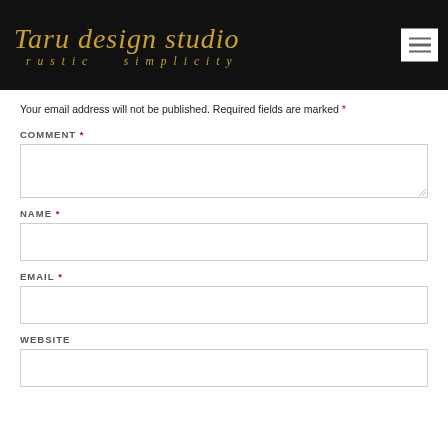Taru design studio — rustic simplicity
Your email address will not be published. Required fields are marked *
COMMENT *
NAME *
EMAIL *
WEBSITE